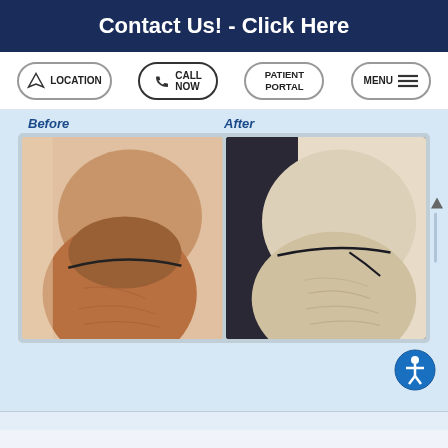Contact Us! - Click Here
LOCATION | CALL NOW | PATIENT PORTAL | MENU
Before
After
[Figure (photo): Before and after medical procedure photos showing side-view body images, left panel shows darker skin tone before photo, right panel shows lighter skin tone after photo, both showing the midsection/hip area from the side]